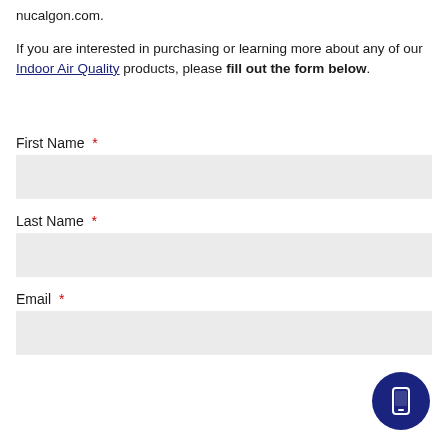nucalgon.com.
If you are interested in purchasing or learning more about any of our Indoor Air Quality products, please fill out the form below.
First Name *
Last Name *
Email *